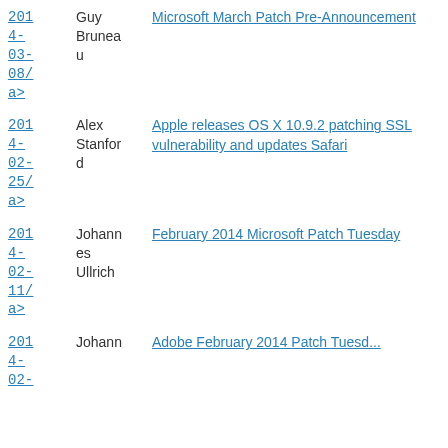2014-03-08 Guy Bruneau Microsoft March Patch Pre-Announcement
2014-02-25 Alex Stanford Apple releases OS X 10.9.2 patching SSL vulnerability and updates Safari
2014-02-11 Johannes Ullrich February 2014 Microsoft Patch Tuesday
2014-02- Johann...